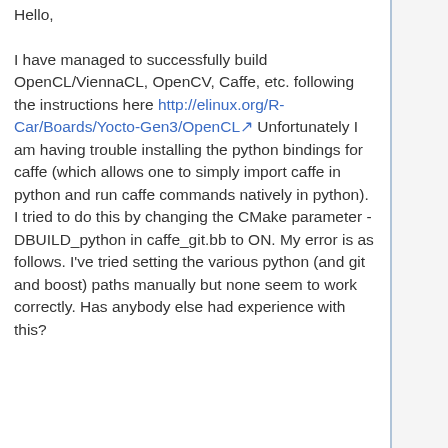Hello,

I have managed to successfully build OpenCL/ViennaCL, OpenCV, Caffe, etc. following the instructions here http://elinux.org/R-Car/Boards/Yocto-Gen3/OpenCL Unfortunately I am having trouble installing the python bindings for caffe (which allows one to simply import caffe in python and run caffe commands natively in python). I tried to do this by changing the CMake parameter -DBUILD_python in caffe_git.bb to ON. My error is as follows. I've tried setting the various python (and git and boost) paths manually but none seem to work correctly. Has anybody else had experience with this?